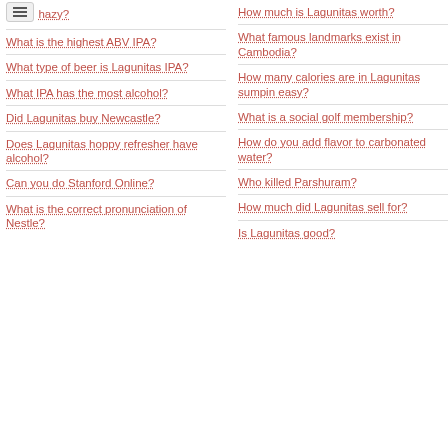hazy?
What is the highest ABV IPA?
What type of beer is Lagunitas IPA?
What IPA has the most alcohol?
Did Lagunitas buy Newcastle?
Does Lagunitas hoppy refresher have alcohol?
Can you do Stanford Online?
What is the correct pronunciation of Nestle?
How much is Lagunitas worth?
What famous landmarks exist in Cambodia?
How many calories are in Lagunitas sumpin easy?
What is a social golf membership?
How do you add flavor to carbonated water?
Who killed Parshuram?
How much did Lagunitas sell for?
Is Lagunitas good?